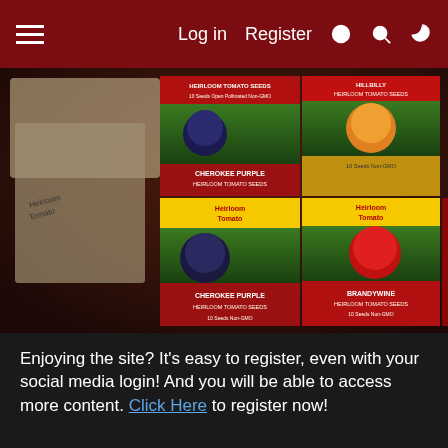Log in  Register
[Figure (photo): Photo of heirloom tomato seed packets on a table including Cherokee Purple, Brandywine, Hillbilly, and Pineapple varieties, alongside handwritten seed envelopes.]
The other big task today was dropping all the annuum into the Coleman.  After this annuum round I'll have just a final 2 varieties I'm waiting for in the mail, then I'll be done starting
Enjoying the site? It's easy to register, even with your social media login! And you will be able to access more content. Click Here to register now!